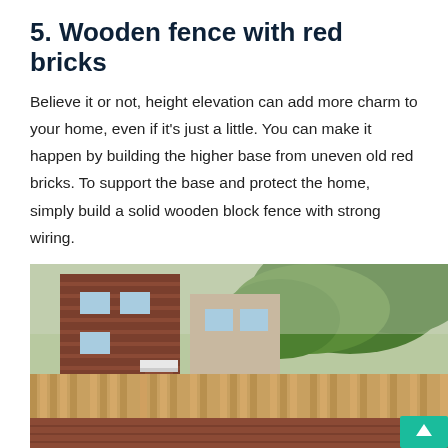5. Wooden fence with red bricks
Believe it or not, height elevation can add more charm to your home, even if it's just a little. You can make it happen by building the higher base from uneven old red bricks. To support the base and protect the home, simply build a solid wooden block fence with strong wiring.
[Figure (photo): Photograph of a wooden fence with a red brick base next to a brick house, with trees visible in the background. A teal/turquoise button with an upward arrow is visible in the bottom-right corner.]